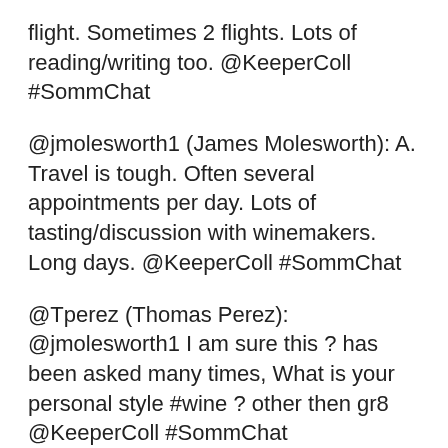flight. Sometimes 2 flights. Lots of reading/writing too. @KeeperColl #SommChat
@jmolesworth1 (James Molesworth): A. Travel is tough. Often several appointments per day. Lots of tasting/discussion with winemakers. Long days. @KeeperColl #SommChat
@Tperez (Thomas Perez): @jmolesworth1 I am sure this ? has been asked many times, What is your personal style #wine ? other then gr8 @KeeperColl #SommChat
@jmolesworth1 (James Molesworth): It's about mood. I don't mind tannin or oak. I like acidity. I want a sense of distinction and place... @TperezWine #SommChat